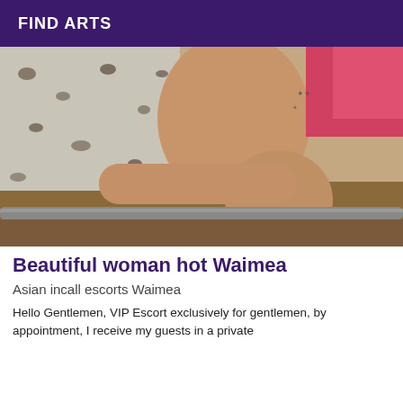FIND ARTS
[Figure (photo): Close-up photo of a person sitting on a bed with leopard-print fabric, showing legs and arm with tattoos, wearing a red/pink top.]
Beautiful woman hot Waimea
Asian incall escorts Waimea
Hello Gentlemen, VIP Escort exclusively for gentlemen, by appointment, I receive my guests in a private